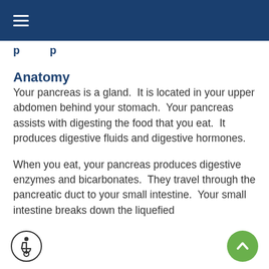≡
Anatomy
Your pancreas is a gland.  It is located in your upper abdomen behind your stomach.  Your pancreas assists with digesting the food that you eat.  It produces digestive fluids and digestive hormones.
When you eat, your pancreas produces digestive enzymes and bicarbonates.  They travel through the pancreatic duct to your small intestine.  Your small intestine breaks down the liquefied